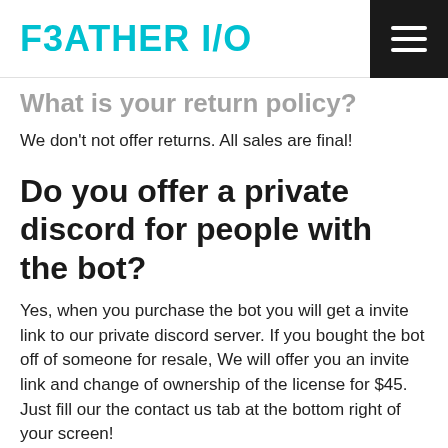F3ATHER I/O
What is your return policy?
We don't not offer returns. All sales are final!
Do you offer a private discord for people with the bot?
Yes, when you purchase the bot you will get a invite link to our private discord server. If you bought the bot off of someone for resale, We will offer you an invite link and change of ownership of the license for $45. Just fill our the contact us tab at the bottom right of your screen!
Somebody scammed me when reselling your bot, what services do you offer?